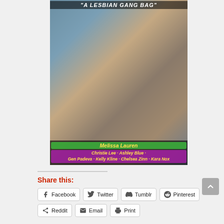[Figure (photo): DVD cover art showing multiple women in an outdoor Western-themed scene. Title text at top reads 'A LESBIAN GANG BA__G'. Bottom credits show 'Melissa Lauren' in green/yellow text and cast names 'Christie Lee · Ashley Blue · Gen Padeva · Kelly Kline · Chelsea Zinn · Kara Nox' in purple/yellow text. Logo blocks visible at bottom left and right.]
Share this:
Facebook
Twitter
Tumblr
Pinterest
Reddit
Email
Print